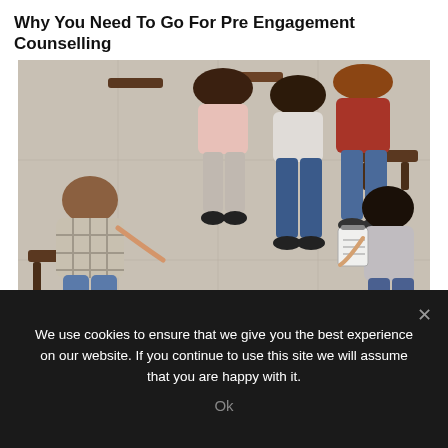Why You Need To Go For Pre Engagement Counselling
[Figure (photo): Overhead view of a group counselling session with six people seated in a circle on chairs and the floor, some holding a clipboard, engaged in discussion.]
We use cookies to ensure that we give you the best experience on our website. If you continue to use this site we will assume that you are happy with it.
Ok